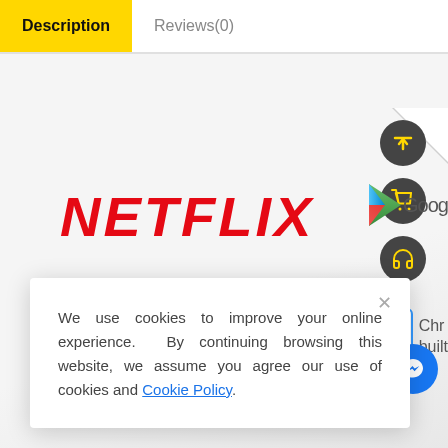Description
Reviews(0)
[Figure (logo): Netflix logo in bold red italic capital letters: NETFLIX]
[Figure (logo): Google Play triangle logo partially visible on right side with text 'Goog']
[Figure (screenshot): Floating action buttons on right: up arrow circle, cart circle, headset circle. Below: QR code icon box labeled Chrome built-in. Messenger circle icon.]
We use cookies to improve your online experience. By continuing browsing this website, we assume you agree our use of cookies and Cookie Policy.